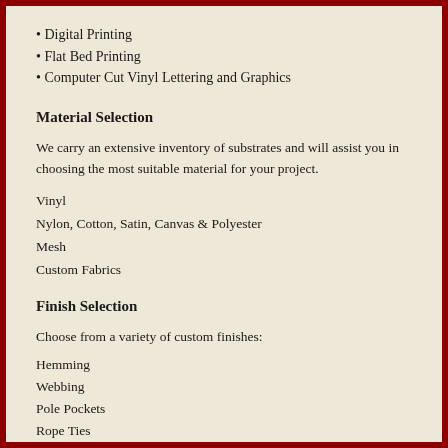• Digital Printing
• Flat Bed Printing
• Computer Cut Vinyl Lettering and Graphics
Material Selection
We carry an extensive inventory of substrates and will assist you in choosing the most suitable material for your project.
Vinyl
Nylon, Cotton, Satin, Canvas & Polyester
Mesh
Custom Fabrics
Finish Selection
Choose from a variety of custom finishes:
Hemming
Webbing
Pole Pockets
Rope Ties
Heading Tape
Velcro
Grommets
D-Rings
And More